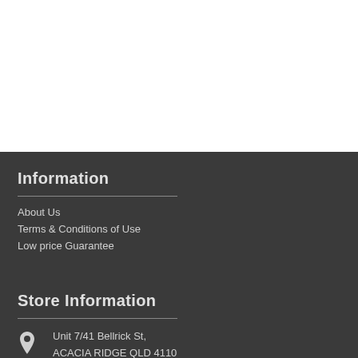Information
About Us
Terms & Conditions of Use
Low price Guarantee
Store Information
Unit 7/41 Bellrick St,
ACACIA RIDGE QLD 4110